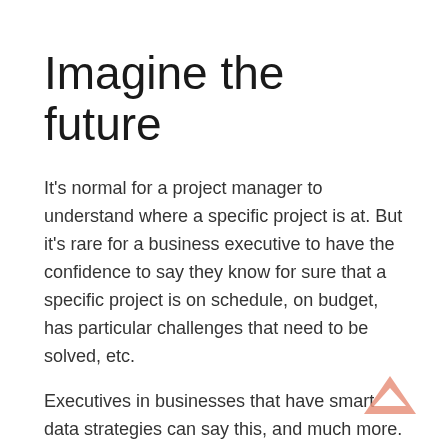Imagine the future
It’s normal for a project manager to understand where a specific project is at. But it’s rare for a business executive to have the confidence to say they know for sure that a specific project is on schedule, on budget, has particular challenges that need to be solved, etc.
Executives in businesses that have smart data strategies can say this, and much more.
Data-driven systems offer such powerful insights that it can be quite a mental leap to imagine their business uses. Many organisations continue to discover new and exciting use cases for their data